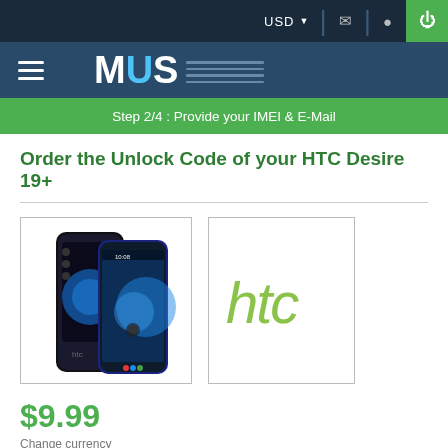USD
[Figure (screenshot): MUS website navigation logo with hamburger menu]
Step 2/4 : Provide your IMEI & E-Mail
Order the Unlock Code of your HTC Desire 19+
[Figure (photo): HTC Desire 19+ smartphone front and back view]
[Figure (logo): HTC brand logo in green italic text]
$9.99
Change currency